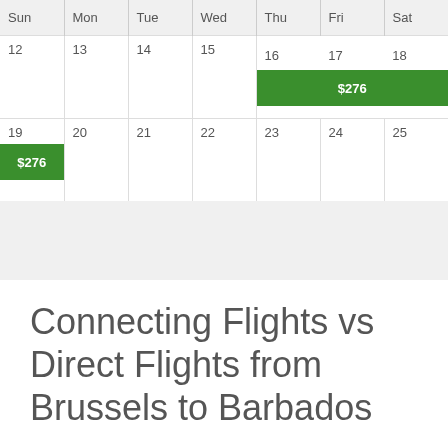[Figure (screenshot): A flight price calendar showing days Sun through Sat, weeks of 12-18 and 19-25. Green highlighted bar showing $276 spans Thu 16 through Sat 18 in the first week row, and Sun 19 shows $276 in green.]
Connecting Flights vs Direct Flights from Brussels to Barbados